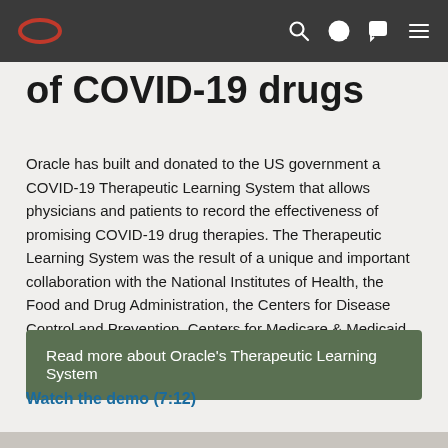Oracle navigation bar with Oracle logo, search, profile, chat, and menu icons
of COVID-19 drugs
Oracle has built and donated to the US government a COVID-19 Therapeutic Learning System that allows physicians and patients to record the effectiveness of promising COVID-19 drug therapies. The Therapeutic Learning System was the result of a unique and important collaboration with the National Institutes of Health, the Food and Drug Administration, the Centers for Disease Control and Prevention, Centers for Medicare & Medicaid Services, and the Department of Health and Human Services.
Read more about Oracle's Therapeutic Learning System
Watch the demo (7:12)